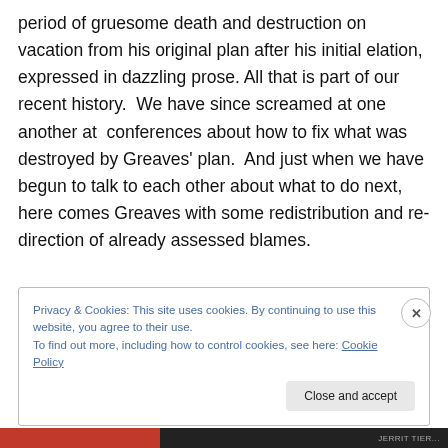period of gruesome death and destruction on vacation from his original plan after his initial elation, expressed in dazzling prose. All that is part of our recent history.  We have since screamed at one another at  conferences about how to fix what was destroyed by Greaves' plan.  And just when we have begun to talk to each other about what to do next, here comes Greaves with some redistribution and re-direction of already assessed blames.
Privacy & Cookies: This site uses cookies. By continuing to use this website, you agree to their use.
To find out more, including how to control cookies, see here: Cookie Policy